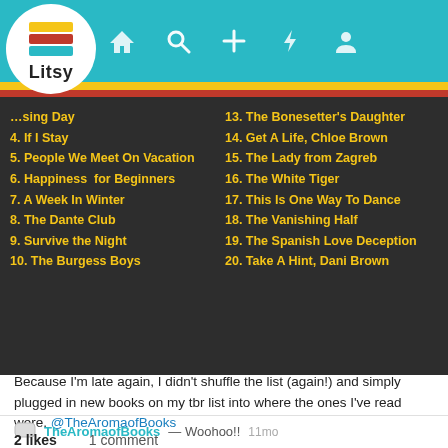[Figure (screenshot): Litsy app header with logo and navigation icons (home, search, plus, lightning, profile) on teal background]
...sing Day
4. If I Stay
5. People We Meet On Vacation
6. Happiness  for Beginners
7. A Week In Winter
8. The Dante Club
9. Survive the Night
10. The Burgess Boys
13. The Bonesetter's Daughter
14. Get A Life, Chloe Brown
15. The Lady from Zagreb
16. The White Tiger
17. This Is One Way To Dance
18. The Vanishing Half
19. The Spanish Love Deception
20. Take A Hint, Dani Brown
Because I'm late again, I didn't shuffle the list (again!) and simply plugged in new books on my tbr list into where the ones I've read were. @TheAromaofBooks
TheAromaofBooks — Woohoo!! 11mo
2 likes   1 comment